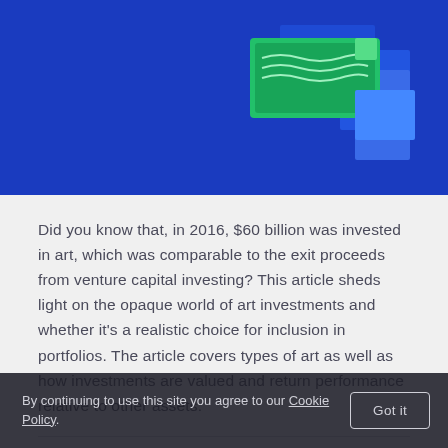[Figure (illustration): Blue banner hero image with illustrated art/investment graphic showing green and blue geometric shapes on a bright blue background]
Did you know that, in 2016, $60 billion was invested in art, which was comparable to the exit proceeds from venture capital investing? This article sheds light on the opaque world of art investments and whether it's a realistic choice for inclusion in portfolios. The article covers types of art as well as how investments are valued and return performance relative to other assets.
AUTHOR
Zachary Ellison
By continuing to use this site you agree to our Cookie Policy.